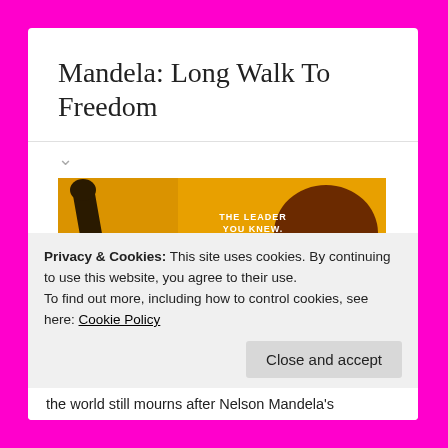Mandela: Long Walk to Freedom
[Figure (photo): Movie poster for Mandela: Long Walk to Freedom. Yellow/golden background with two figures – a man with raised fist on the left and a woman in a head wrap on the right. Text reads: THE LEADER YOU KNEW. THE WOMAN YOU DIDN'T. MANDELA LONG WALK TO FREEDOM.]
Privacy & Cookies: This site uses cookies. By continuing to use this website, you agree to their use.
To find out more, including how to control cookies, see here: Cookie Policy
Close and accept
the world still mourns after Nelson Mandela's